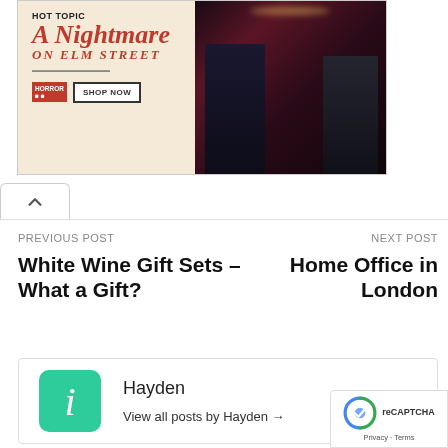[Figure (photo): Hot Topic advertisement banner for 'A Nightmare on Elm Street' merchandise featuring two people in dark clothing with a 'SHOP NOW' button]
PREVIOUS POST
White Wine Gift Sets – What a Gift?
NEXT POST
Home Office in London
Hayden
View all posts by Hayden →